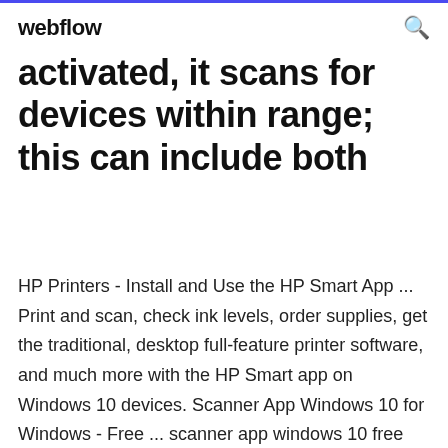webflow [search icon]
activated, it scans for devices within range; this can include both
HP Printers - Install and Use the HP Smart App ... Print and scan, check ink levels, order supplies, get the traditional, desktop full-feature printer software, and much more with the HP Smart app on Windows 10 devices. Scanner App Windows 10 for Windows - Free ... scanner app windows 10 free download - Windows 10, Apple Safari, Fitsoft Scanner for Windows 10, and many more programs Top 5 Free Scanner Software for Windows 10 / 7 / ... If the previous app wasn't for Windows 7 and